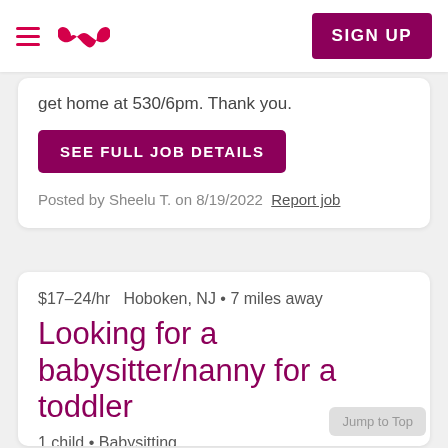Sittercity navigation bar with hamburger menu, logo, and SIGN UP button
get home at 530/6pm. Thank you.
SEE FULL JOB DETAILS
Posted by Sheelu T. on 8/19/2022  Report job
$17–24/hr  Hoboken, NJ • 7 miles away
Looking for a babysitter/nanny for a toddler
1 child • Babysitting
Occasional